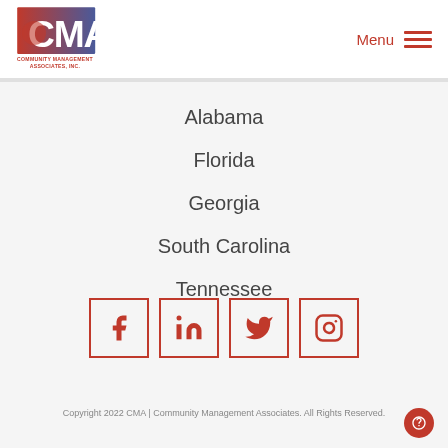[Figure (logo): CMA Community Management Associates, Inc. logo with red and blue design]
Menu
Alabama
Florida
Georgia
South Carolina
Tennessee
[Figure (illustration): Social media icons row: Facebook, LinkedIn, Twitter, Instagram — each in a red-bordered square]
Copyright 2022 CMA | Community Management Associates. All Rights Reserved.